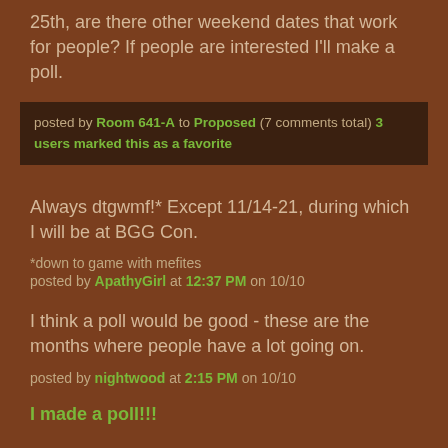25th, are there other weekend dates that work for people? If people are interested I'll make a poll.
posted by Room 641-A to Proposed (7 comments total) 3 users marked this as a favorite
Always dtgwmf!* Except 11/14-21, during which I will be at BGG Con.
*down to game with mefites
posted by ApathyGirl at 12:37 PM on 10/10
I think a poll would be good - these are the months where people have a lot going on.
posted by nightwood at 2:15 PM on 10/10
I made a poll!! I started it on 10/28 to give people time to...